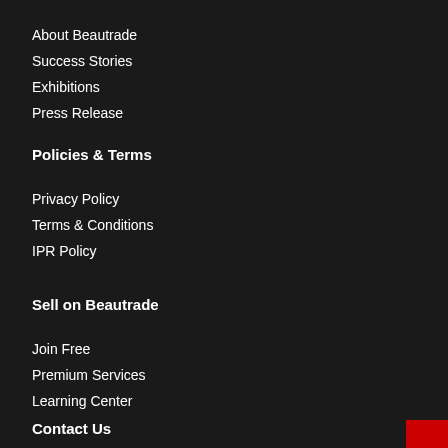About Beautrade
Success Stories
Exhibitions
Press Release
Policies & Terms
Privacy Policy
Terms & Conditions
IPR Policy
[Figure (other): JOIN NOW vertical red button on right side]
Sell on Beautrade
Join Free
Premium Services
Learning Center
Contact Us
info@beautrade.com